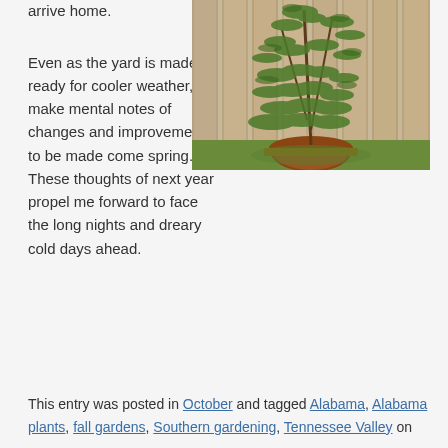arrive home.
[Figure (photo): A bushy green plant in a round rusty brown pot, growing tall against a weathered wooden fence, with green ground cover below.]
Even as the yard is made ready for cooler weather, I make mental notes of changes and improvements to be made come spring. These thoughts of next year propel me forward to face the long nights and dreary cold days ahead.
This entry was posted in October and tagged Alabama, Alabama plants, fall gardens, Southern gardening, Tennessee Valley on